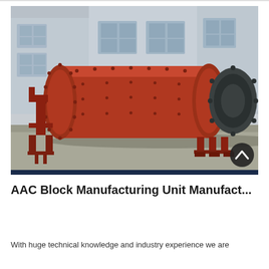[Figure (photo): Industrial ball mill machine, large red cylindrical drum with bolted flanges mounted on red metal support frames, with a dark grey gear/motor assembly on the right side, photographed outdoors in front of a factory building.]
AAC Block Manufacturing Unit Manufact...
With huge technical knowledge and industry experience we are...